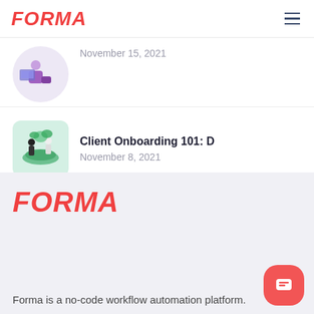FORMA
November 15, 2021
Client Onboarding 101: D
November 8, 2021
[Figure (logo): FORMA logo in red italic bold text]
Forma is a no-code workflow automation platform.